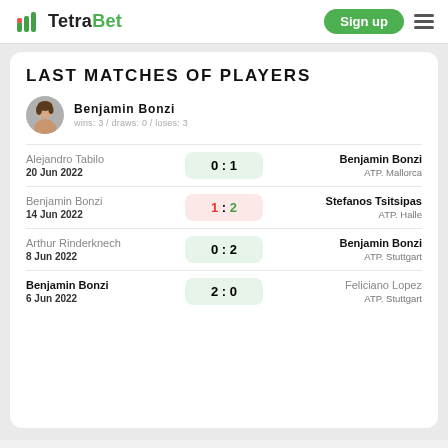TetraBet — Sign up
LAST MATCHES OF PLAYERS
Benjamin Bonzi — wins: 3 / draws: 0 / loses: 3
| Player Left | Date | Score | Player Right | Tournament |
| --- | --- | --- | --- | --- |
| Alejandro Tabilo | 20 Jun 2022 | 0 : 1 | Benjamin Bonzi | ATP. Mallorca |
| Benjamin Bonzi | 14 Jun 2022 | 1 : 2 | Stefanos Tsitsipas | ATP. Halle |
| Arthur Rinderknech | 8 Jun 2022 | 0 : 2 | Benjamin Bonzi | ATP. Stuttgart |
| Benjamin Bonzi | 6 Jun 2022 | 2 : 0 | Feliciano Lopez | ATP. Stuttgart |